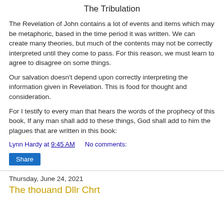The Tribulation
The Revelation of John contains a lot of events and items which may be metaphoric, based in the time period it was written. We can create many theories, but much of the contents may not be correctly interpreted until they come to pass. For this reason, we must learn to agree to disagree on some things.
Our salvation doesn't depend upon correctly interpreting the information given in Revelation. This is food for thought and consideration.
For I testify to every man that hears the words of the prophecy of this book, If any man shall add to these things, God shall add to him the plagues that are written in this book:
Lynn Hardy at 9:45 AM    No comments:
Share
Thursday, June 24, 2021